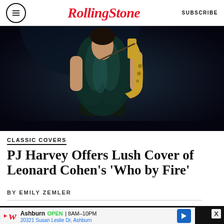RollingStone  SUBSCRIBE
[Figure (photo): Concert photo of a performer in a dark feathered/fur vest holding a saxophone on a dark stage with blue lighting]
CLASSIC COVERS
PJ Harvey Offers Lush Cover of Leonard Cohen's 'Who by Fire'
BY EMILY ZEMLER
[Figure (infographic): Walgreens advertisement banner: Ashburn OPEN 8AM–10PM, 20321 Susan Leslie Dr, Ashburn]